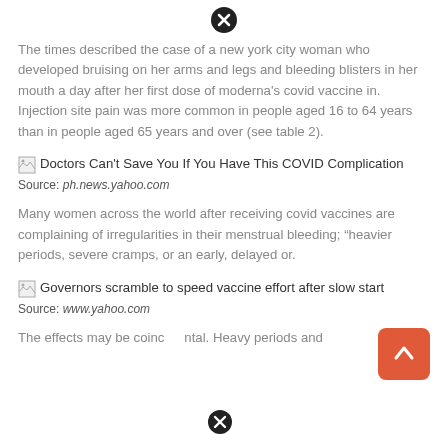[Figure (other): Close/dismiss button (X icon) at top center]
The times described the case of a new york city woman who developed bruising on her arms and legs and bleeding blisters in her mouth a day after her first dose of moderna's covid vaccine in. Injection site pain was more common in people aged 16 to 64 years than in people aged 65 years and over (see table 2).
[Figure (other): Broken image icon followed by link text: Doctors Can't Save You If You Have This COVID Complication]
Source: ph.news.yahoo.com
Many women across the world after receiving covid vaccines are complaining of irregularities in their menstrual bleeding; “heavier periods, severe cramps, or an early, delayed or.
[Figure (other): Broken image icon followed by link text: Governors scramble to speed vaccine effort after slow start]
Source: www.yahoo.com
The effects may be coincidental. Heavy periods and
[Figure (other): Close/dismiss button (X icon) at bottom center]
[Figure (other): Orange/red upward arrow button at bottom right]